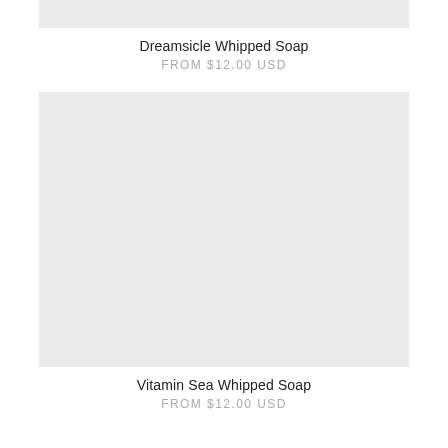[Figure (photo): Light gray placeholder image for Dreamsicle Whipped Soap product (top cropped)]
Dreamsicle Whipped Soap
FROM $12.00 USD
[Figure (photo): Light gray placeholder image for Vitamin Sea Whipped Soap product]
Vitamin Sea Whipped Soap
FROM $12.00 USD